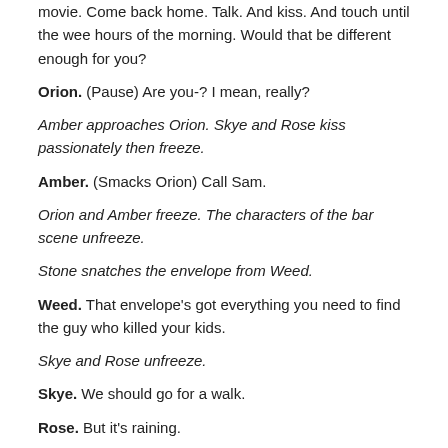movie. Come back home. Talk. And kiss. And touch until the wee hours of the morning. Would that be different enough for you?
Orion. (Pause) Are you-? I mean, really?
Amber approaches Orion. Skye and Rose kiss passionately then freeze.
Amber. (Smacks Orion) Call Sam.
Orion and Amber freeze. The characters of the bar scene unfreeze.
Stone snatches the envelope from Weed.
Weed. That envelope's got everything you need to find the guy who killed your kids.
Skye and Rose unfreeze.
Skye. We should go for a walk.
Rose. But it's raining.
Skye. We should put on coats...and then go for a walk. (Exit Skye and Rose)
Stone. Everything?
Weed. Address. Phone number. Places he frequents. Rough